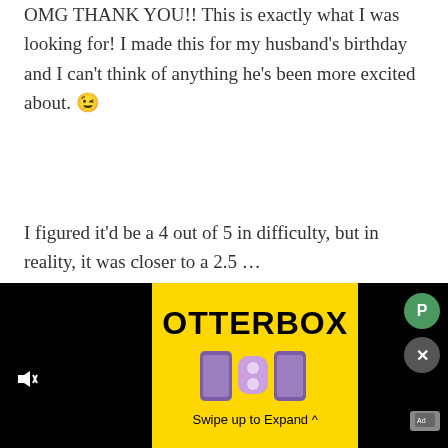OMG THANK YOU!! This is exactly what I was looking for! I made this for my husband's birthday and I can't think of anything he's been more excited about. 😉
I figured it'd be a 4 out of 5 in difficulty, but in reality, it was closer to a 2.5 ...
Not having a food processor, I had no choice but to recreate this piece mindfully. (Note: It takes approximately 20-25 minutes to fully crush a package of Oreos with a manual pastry blender.)
Also, at the last minute, I realized that my round cake pans are actually 8", not 9"
[Figure (screenshot): OtterBox advertisement overlay at the bottom of the page, with a black video panel on the left showing a mute button, a yellow panel in the center with OTTERBOX branding and product images of phone cases and AirPods cases, 'Swipe up to Expand ^' text, and a black panel on the right with a green circle P button and a gray X close button.]